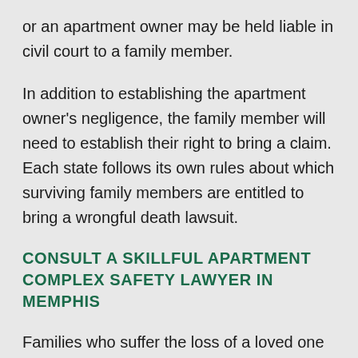or an apartment owner may be held liable in civil court to a family member.
In addition to establishing the apartment owner's negligence, the family member will need to establish their right to bring a claim. Each state follows its own rules about which surviving family members are entitled to bring a wrongful death lawsuit.
CONSULT A SKILLFUL APARTMENT COMPLEX SAFETY LAWYER IN MEMPHIS
Families who suffer the loss of a loved one due to a homicide at an apartment complex should contact the